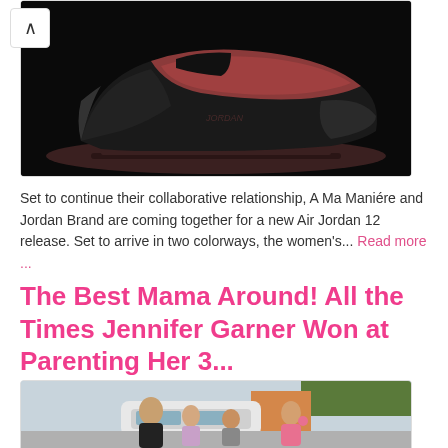[Figure (photo): Close-up photo of an Air Jordan 12 sneaker with black and dark red/burgundy colorway on black background]
Set to continue their collaborative relationship, A Ma Maniére and Jordan Brand are coming together for a new Air Jordan 12 release. Set to arrive in two colorways, the women's... Read more ...
The Best Mama Around! All the Times Jennifer Garner Won at Parenting Her 3...
[Figure (photo): Photo of Jennifer Garner walking outdoors with her three children, a girl in pink jacket, a boy, and another girl in lavender. A white car and trees visible in background.]